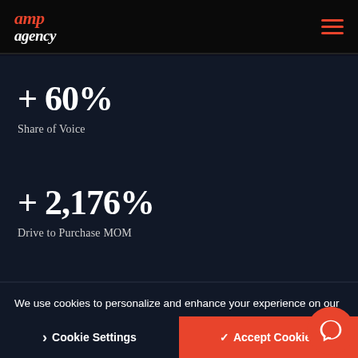[Figure (logo): AMP Agency logo in orange italic text on black header bar with hamburger menu icon]
+ 60%
Share of Voice
+ 2,176%
Drive to Purchase MOM
We use cookies to personalize and enhance your experience on our website. Closing this banner will accept all cookies. Visit our privacy policy to learn more, or manage your personal preferences using the cookie settings tool. Privacy Policy
Cookie Settings  Accept Cookies